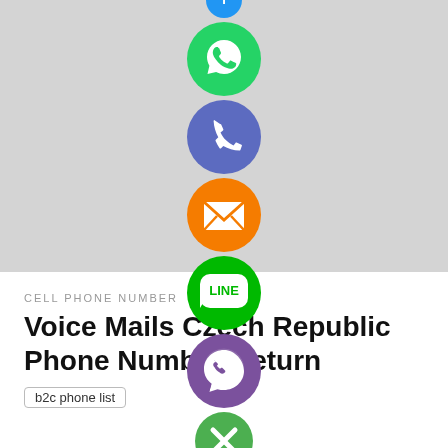[Figure (illustration): Gray background section with vertically stacked social/communication app icon circles: WhatsApp (green), Phone (purple/blue), Email (orange), LINE (green), Viber (purple), and a green close/X button. A partial blue circle is visible at the top.]
CELL PHONE NUMBER
Voice Mails Czech Republic Phone Number Return
b2c phone list